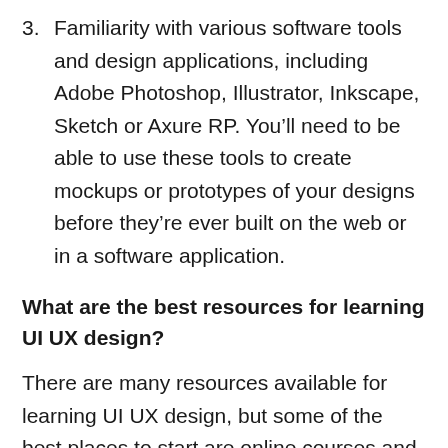3. Familiarity with various software tools and design applications, including Adobe Photoshop, Illustrator, Inkscape, Sketch or Axure RP. You'll need to be able to use these tools to create mockups or prototypes of your designs before they're ever built on the web or in a software application.
What are the best resources for learning UI UX design?
There are many resources available for learning UI UX design, but some of the best places to start are online courses and Udemy